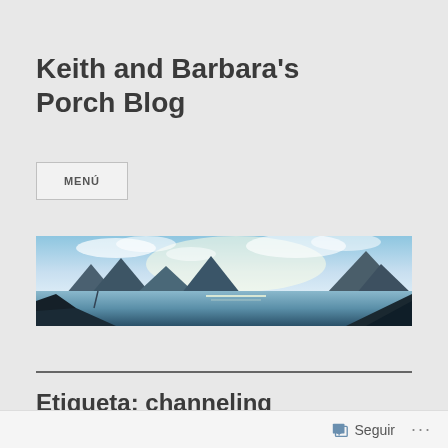Keith and Barbara's Porch Blog
MENÚ
[Figure (photo): Panoramic landscape photo showing a lake with mountains and volcanoes in the background under a bright sky with clouds, foreground shows dark hillside and water reflections.]
Etiqueta: channeling
Seguir ...